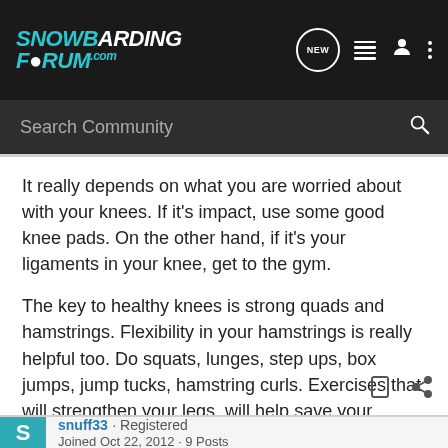[Figure (logo): Snowboarding Forum .com logo in teal/cyan italic font on dark background]
Search Community
It really depends on what you are worried about with your knees. If it's impact, use some good knee pads. On the other hand, if it's your ligaments in your knee, get to the gym.
The key to healthy knees is strong quads and hamstrings. Flexibility in your hamstrings is really helpful too. Do squats, lunges, step ups, box jumps, jump tucks, hamstring curls. Exercises that will strengthen your legs, will help save your knees.
snuff33 · Registered
Joined Oct 22, 2012 · 9 Posts